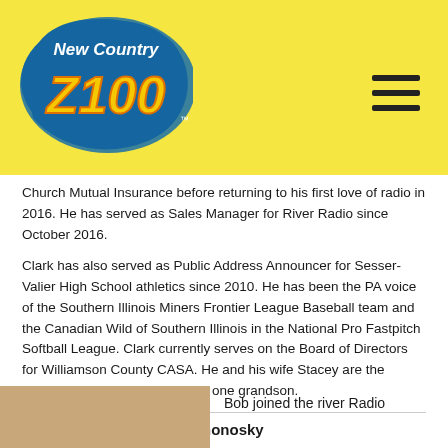[Figure (logo): New Country Z100 radio station logo on yellow background with hamburger menu icon]
Church Mutual Insurance before returning to his first love of radio in 2016.  He has served as Sales Manager for River Radio since October 2016.
Clark has also served as Public Address Announcer for Sesser-Valier High School athletics since 2010.  He has been the PA voice of the Southern Illinois Miners Frontier League Baseball team and the Canadian Wild of Southern Illinois in the National Pro Fastpitch Softball League. Clark currently serves on the Board of Directors for Williamson County CASA. He and his wife Stacey are the parents of three boys and have one grandson.
Chief Engineer – Bob Romonosky
[Figure (photo): Photo of Bob Romonosky (partially visible)]
Bob joined the river Radio